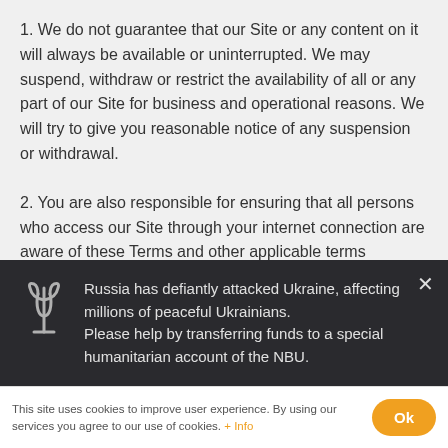1. We do not guarantee that our Site or any content on it will always be available or uninterrupted. We may suspend, withdraw or restrict the availability of all or any part of our Site for business and operational reasons. We will try to give you reasonable notice of any suspension or withdrawal.
2. You are also responsible for ensuring that all persons who access our Site through your internet connection are aware of these Terms and other applicable terms
[Figure (other): Dark notification banner with Ukrainian trident emblem (white outline) and text: 'Russia has defiantly attacked Ukraine, affecting millions of peaceful Ukrainians. Please help by transferring funds to a special humanitarian account of the NBU.' with a close (×) button in the top right.]
This site uses cookies to improve user experience. By using our services you agree to our use of cookies. + Info